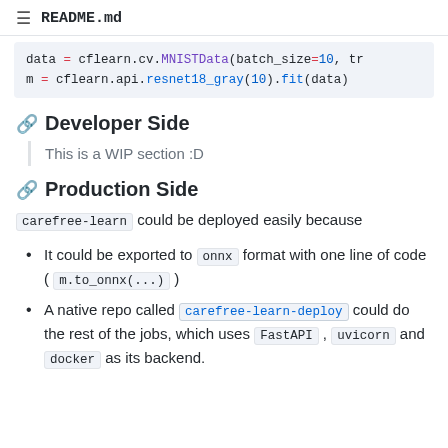README.md
data = cflearn.cv.MNISTData(batch_size=10, tr
m = cflearn.api.resnet18_gray(10).fit(data)
Developer Side
This is a WIP section :D
Production Side
carefree-learn could be deployed easily because
It could be exported to onnx format with one line of code ( m.to_onnx(...) )
A native repo called carefree-learn-deploy could do the rest of the jobs, which uses FastAPI , uvicorn and docker as its backend.